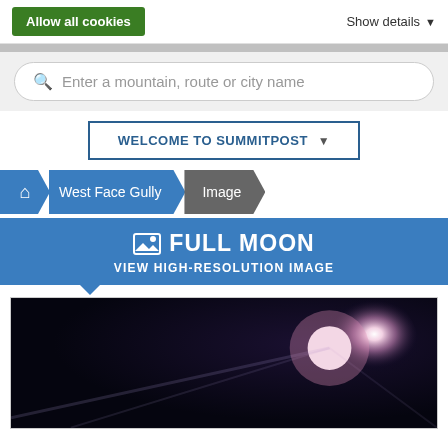Allow all cookies
Show details
Enter a mountain, route or city name
WELCOME TO SUMMITPOST
West Face Gully
Image
FULL MOON
VIEW HIGH-RESOLUTION IMAGE
[Figure (photo): Night sky photo showing a bright full moon with lens flare on the right side against a dark sky background]